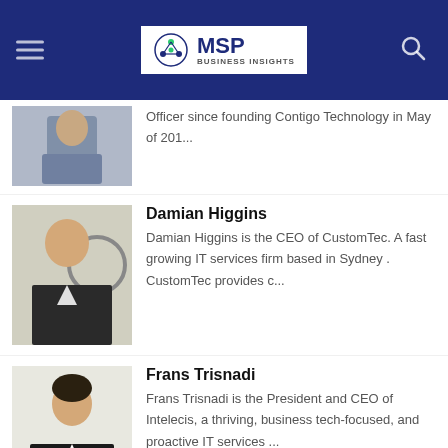MSP Business Insights
Officer since founding Contigo Technology in May of 201...
Damian Higgins
Damian Higgins is the CEO of CustomTec. A fast growing IT services firm based in Sydney . CustomTec provides c...
Frans Trisnadi
Frans Trisnadi is the President and CEO of Intelecis, a thriving, business tech-focused, and proactive IT services ...
Herbert Olitsky